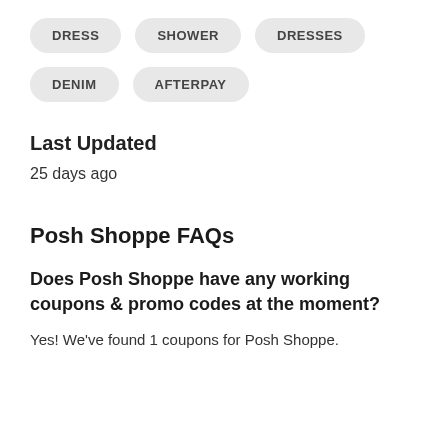DRESS
SHOWER
DRESSES
DENIM
AFTERPAY
Last Updated
25 days ago
Posh Shoppe FAQs
Does Posh Shoppe have any working coupons & promo codes at the moment?
Yes! We've found 1 coupons for Posh Shoppe.